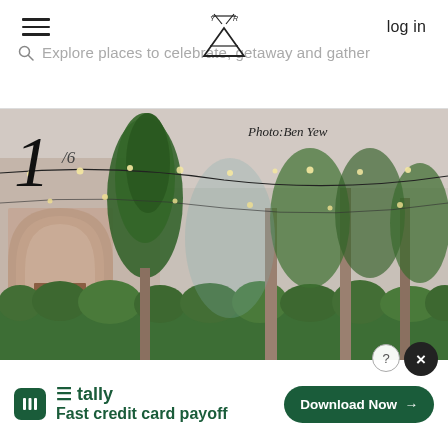log in
Explore places to celebrate, getaway and gather
[Figure (photo): Outdoor venue with string lights hung between trees, lush green hedges and foliage, a brick building with arched windows visible on the left. Photo counter showing 1/6. Photo credit: Ben Yew.]
Fast credit card payoff
tally
Download Now